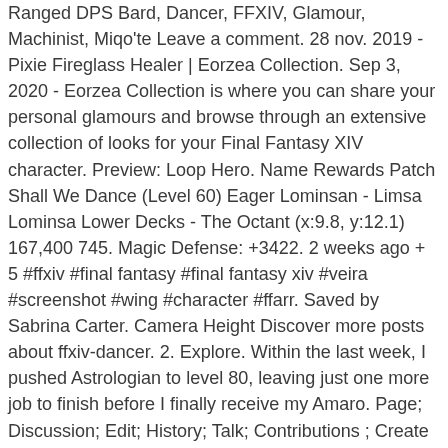Ranged DPS Bard, Dancer, FFXIV, Glamour, Machinist, Miqo'te Leave a comment. 28 nov. 2019 - Pixie Fireglass Healer | Eorzea Collection. Sep 3, 2020 - Eorzea Collection is where you can share your personal glamours and browse through an extensive collection of looks for your Final Fantasy XIV character. Preview: Loop Hero. Name Rewards Patch Shall We Dance (Level 60) Eager Lominsan - Limsa Lominsa Lower Decks - The Octant (x:9.8, y:12.1) 167,400 745. Magic Defense: +3422. 2 weeks ago + 5 #ffxiv #final fantasy #final fantasy xiv #veira #screenshot #wing #character #ffarr. Saved by Sabrina Carter. Camera Height Discover more posts about ffxiv-dancer. 2. Explore. Within the last week, I pushed Astrologian to level 80, leaving just one more job to finish before I finally receive my Amaro. Page; Discussion; Edit; History; Talk; Contributions ; Create account; Log in; Dancer (DNC) The Armoury. Final Fantasy Xiv Ps Wallpapers. It makes … Posted by 1 year ago. Sort by. Fear not! Saved from ffxiv.eorzeacollection.com. Want to know to add glamour to my